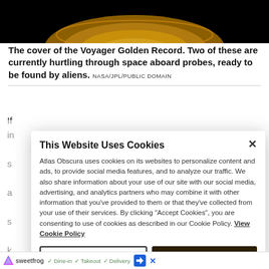[Figure (photo): Close-up photo of the Voyager Golden Record cover, showing a gold disc against a black background with an amber/golden glowing arc visible at the bottom.]
The cover of the Voyager Golden Record. Two of these are currently hurtling through space aboard probes, ready to be found by aliens. NASA/JPL/PUBLIC DOMAIN
If
in
s
a
s
k
s
t
M
have c
know o
This Website Uses Cookies

Atlas Obscura uses cookies on its websites to personalize content and ads, to provide social media features, and to analyze our traffic. We also share information about your use of our site with our social media, advertising, and analytics partners who may combine it with other information that you've provided to them or that they've collected from your use of their services. By clicking "Accept Cookies", you are consenting to use of cookies as described in our Cookie Policy. View Cookie Policy

[Manage Preferences] [Allow Cookies]
[Figure (screenshot): SweetFrog restaurant ad bar showing logo, checkmarks for Dine-in, Takeout, Delivery, a navigation icon, and a close X button.]